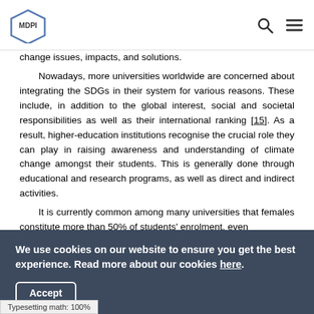MDPI
change issues, impacts, and solutions.
Nowadays, more universities worldwide are concerned about integrating the SDGs in their system for various reasons. These include, in addition to the global interest, social and societal responsibilities as well as their international ranking [15]. As a result, higher-education institutions recognise the crucial role they can play in raising awareness and understanding of climate change amongst their students. This is generally done through educational and research programs, as well as direct and indirect activities.
It is currently common among many universities that females constitute more than 50% of students' enrolment, even
We use cookies on our website to ensure you get the best experience. Read more about our cookies here.
Accept
Typesetting math: 100%